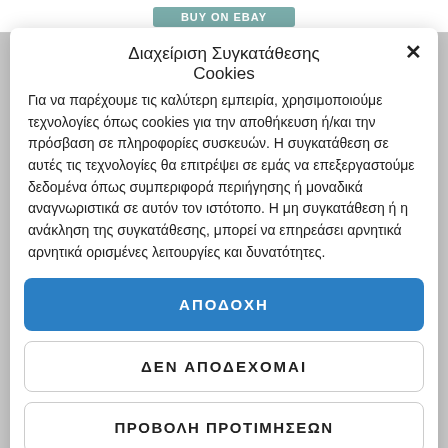BUY ON EBAY
Διαχείριση Συγκατάθεσης Cookies
Για να παρέχουμε τις καλύτερη εμπειρία, χρησιμοποιούμε τεχνολογίες όπως cookies για την αποθήκευση ή/και την πρόσβαση σε πληροφορίες συσκευών. Η συγκατάθεση σε αυτές τις τεχνολογίες θα επιτρέψει σε εμάς να επεξεργαστούμε δεδομένα όπως συμπεριφορά περιήγησης ή μοναδικά αναγνωριστικά σε αυτόν τον ιστότοπο. Η μη συγκατάθεση ή η ανάκληση της συγκατάθεσης, μπορεί να επηρεάσει αρνητικά αρνητικά ορισμένες λειτουργίες και δυνατότητες.
ΑΠΟΔΟΧΗ
ΔΕΝ ΑΠΟΔΕΧΟΜΑΙ
ΠΡΟΒΟΛΗ ΠΡΟΤΙΜΗΣΕΩΝ
ΙΔΙΩΤΙΚΟΤΗΤΑ